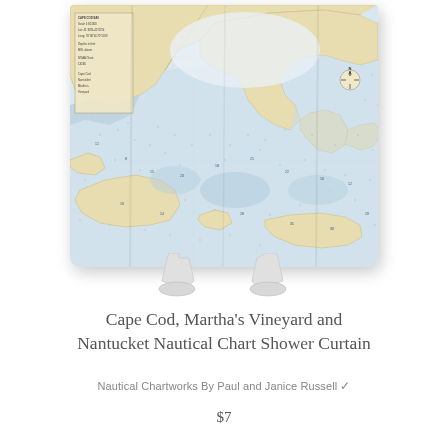[Figure (photo): A shower curtain product displayed on a curtain stand/rod holder. The curtain features a nautical chart map of Cape Cod, Martha's Vineyard and Nantucket, with blue water areas, tan/beige land masses, depth soundings and navigational markings typical of NOAA nautical charts. The curtain hangs from two white plastic legs/feet visible at the bottom.]
Cape Cod, Martha's Vineyard and Nantucket Nautical Chart Shower Curtain
Nautical Chartworks By Paul and Janice Russell